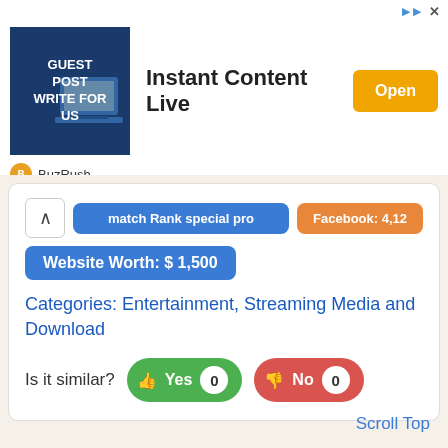[Figure (screenshot): Advertisement banner: blue box with 'GUEST POST WRITE FOR US' text and image of hands on laptop, title 'Instant Content Live', orange 'Open' button, BuzRush logo]
Website Worth: $ 1,500
Categories: Entertainment, Streaming Media and Download
Is it similar?  Yes 0  No 0
Scroll Top